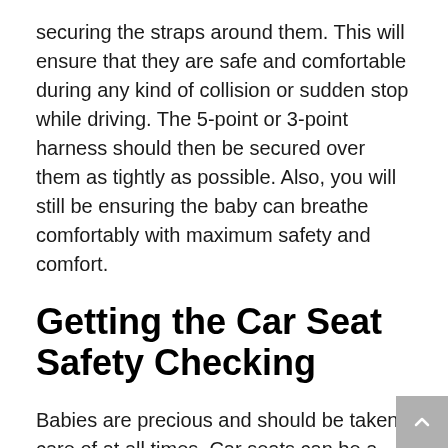securing the straps around them. This will ensure that they are safe and comfortable during any kind of collision or sudden stop while driving. The 5-point or 3-point harness should then be secured over them as tightly as possible. Also, you will still be ensuring the baby can breathe comfortably with maximum safety and comfort.
Getting the Car Seat Safety Checking
Babies are precious and should be taken care of at all times. Car seats can be a danger to your baby if not installed correctly or sometimes if the car seat is too old. The National Highway Traffic Safety